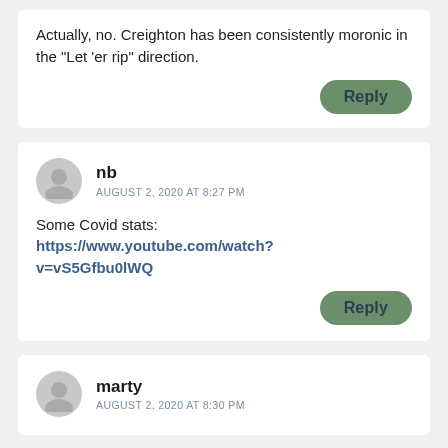Actually, no. Creighton has been consistently moronic in the “Let ’er rip” direction.
Reply
nb
AUGUST 2, 2020 AT 8:27 PM
Some Covid stats: https://www.youtube.com/watch?v=vS5Gfbu0lWQ
Reply
marty
AUGUST 2, 2020 AT 8:30 PM